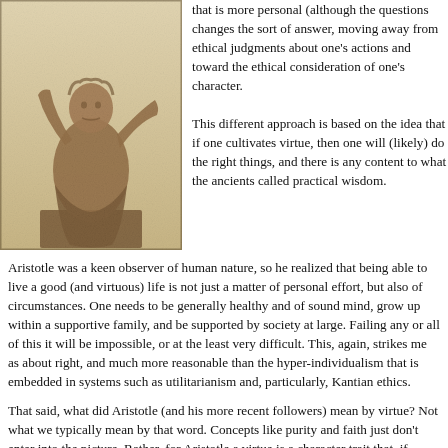[Figure (photo): Sepia-toned photograph of a classical sculpture depicting a seated figure in robes, possibly ancient Greek or Roman, holding an object and positioned on a pedestal or throne.]
that is more personal (although the question changes the sort of answer, moving away from ethical judgments about one's actions and toward the ethical consideration of one's character. This different approach is based on the idea that if one cultivates virtue, then one will (likely) do the right things, and there is any content to what the ancients called practical wisdom.
Aristotle was a keen observer of human nature, so he realized that being able to live a good (and virtuous) life is not just a matter of personal effort, but also of circumstances. One needs to be generally healthy and of sound mind, grow up within a supportive family, and be supported by society at large. Failing any or all of this it will be impossible, or at the least very difficult. This, again, strikes me as about right, and much more reasonable than the hyper-individualism that is embedded in systems such as utilitarianism and, particularly, Kantian ethics.
That said, what did Aristotle (and his more recent followers) mean by virtue? Not what we typically mean by that word. Concepts like purity and faith just don't enter into the picture. Rather, for Aristotle a virtue is a character trait that, if cultivated, leads to a eudaimonic life, defined as a balance between extremes. For instance, courage is somewhere between rashness and cowardice. It has to be noted immediately that "somewhere between" doesn't